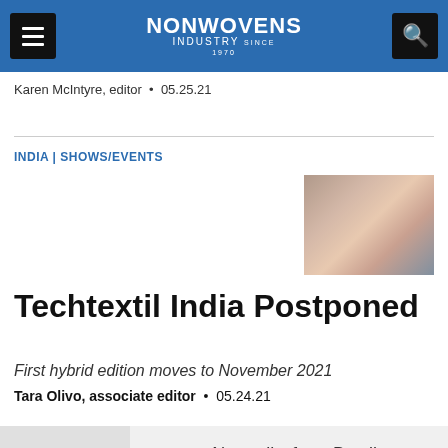NONWOVENS INDUSTRY
Karen McIntyre, editor • 05.25.21
INDIA | SHOWS/EVENTS
[Figure (photo): People seated at a conference or event, attendees visible in rows]
Techtextil India Postponed
First hybrid edition moves to November 2021
Tara Olivo, associate editor • 05.24.21
• Naturally, from Bostik